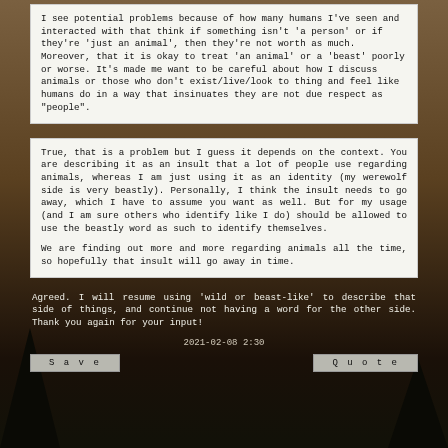I see potential problems because of how many humans I've seen and interacted with that think if something isn't 'a person' or if they're 'just an animal', then they're not worth as much. Moreover, that it is okay to treat 'an animal' or a 'beast' poorly or worse. It's made me want to be careful about how I discuss animals or those who don't exist/live/look to thing and feel like humans do in a way that insinuates they are not due respect as "people".
True, that is a problem but I guess it depends on the context. You are describing it as an insult that a lot of people use regarding animals, whereas I am just using it as an identity (my werewolf side is very beastly). Personally, I think the insult needs to go away, which I have to assume you want as well. But for my usage (and I am sure others who identify like I do) should be allowed to use the beastly word as such to identify themselves.

We are finding out more and more regarding animals all the time, so hopefully that insult will go away in time.
Agreed. I will resume using 'wild or beast-like' to describe that side of things, and continue not having a word for the other side. Thank you again for your input!
2021-02-08 2:30